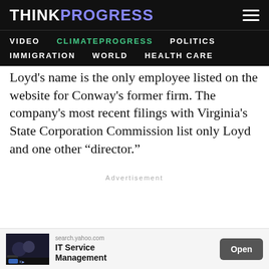THINKPROGRESS
VIDEO  CLIMATEPROGRESS  POLITICS  IMMIGRATION  WORLD  HEALTH CARE
Loyd's name is the only employee listed on the website for Conway's former firm. The company's most recent filings with Virginia's State Corporation Commission list only Loyd and one other “director.”
Advertisement
[Figure (screenshot): Bottom advertisement banner: image thumbnail on left showing two people, text 'search.yahoo.com' and 'IT Service Management', Open button on right]